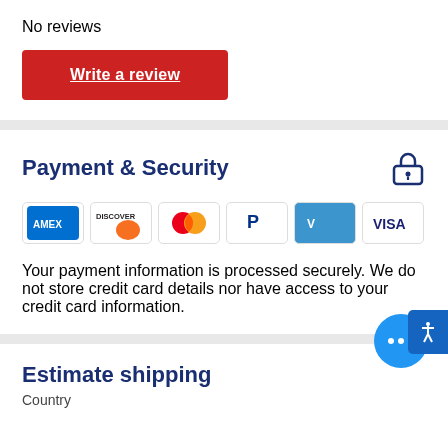No reviews
[Figure (other): Red 'Write a review' button with white underlined text]
Payment & Security
[Figure (other): Payment method logos: Amex, Discover, Mastercard, PayPal, Venmo, Visa]
Your payment information is processed securely. We do not store credit card details nor have access to your credit card information.
Estimate shipping
Country